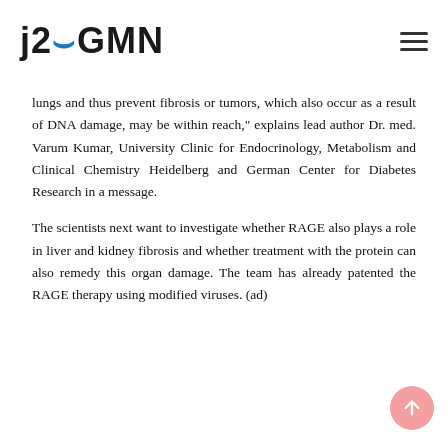j2GMN
lungs and thus prevent fibrosis or tumors, which also occur as a result of DNA damage, may be within reach," explains lead author Dr. med. Varum Kumar, University Clinic for Endocrinology, Metabolism and Clinical Chemistry Heidelberg and German Center for Diabetes Research in a message.
The scientists next want to investigate whether RAGE also plays a role in liver and kidney fibrosis and whether treatment with the protein can also remedy this organ damage. The team has already patented the RAGE therapy using modified viruses. (ad)